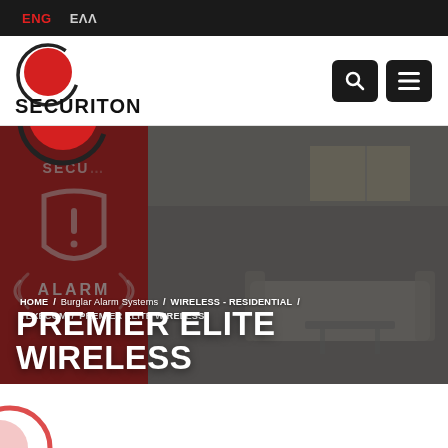ENG  ΕΛΛ
[Figure (logo): Securiton logo: black circle with red filled circle inside, brand name SECURITON below]
[Figure (photo): Hero banner showing a red alarm panel with shield/exclamation icon and text ALARM on the left, and a modern living room interior on the right. Dark overlay. Breadcrumb navigation and large title PREMIER ELITE WIRELESS overlaid.]
HOME / Burglar Alarm Systems / WIRELESS - RESIDENTIAL / TEXECOM / PREMIER ELITE WIRELESS
PREMIER ELITE WIRELESS